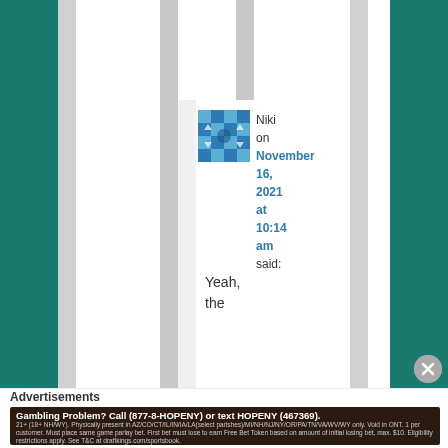Niki on November 16, 2021 at 10:14 am said:
Yeah, the
Advertisements
Gambling Problem? Call (877-8-HOPENY) or text HOPENY (467369). 21+ (18+ NH/WY). Physically present in AZ/CO/CT/IL/IN/IA/LA(select parishes)/MI/NH/NJ/NY/OR/PA/TN/VA/WV/WY only. Void in ONT. 1 per customer. Must place same game parlay bet. First bet must lose to earn Free Bet Token based on amount of initial losing bet, max. $10. Eligibility restrictions apply. See T&C at draftkings.com/sportsbook.